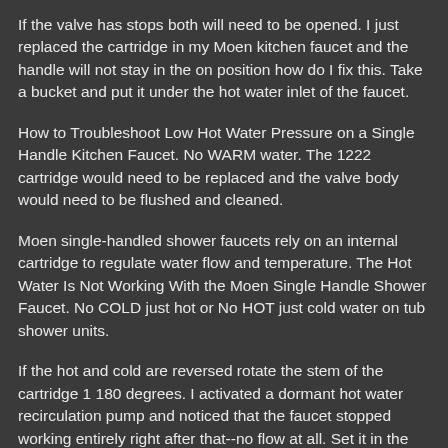If the valve has stops both will need to be opened. I just replaced the cartridge in my Moen kitchen faucet and the handle will not stay in the on position how do I fix this. Take a bucket and put it under the hot water inlet of the faucet.
How to Troubleshoot Low Hot Water Pressure on a Single Handle Kitchen Faucet. No WARM water. The 1222 cartridge would need to be replaced and the valve body would need to be flushed and cleaned.
Moen single-handled shower faucets rely on an internal cartridge to regulate water flow and temperature. The Hot Water Is Not Working With the Moen Single Handle Shower Faucet. No COLD just hot or No HOT just cold water on tub shower units.
If the hot and cold are reversed rotate the stem of the cartridge 1 180 degrees. I activated a dormant hot water recirculation pump and noticed that the faucet stopped working entirely right after that--no flow at all. Set it in the middle.
There could be a leak a sediment build up or it couldve just